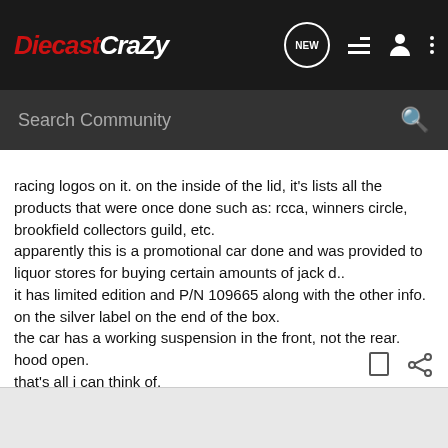DiecastCrazy
racing logos on it. on the inside of the lid, it's lists all the products that were once done such as: rcca, winners circle, brookfield collectors guild, etc.
apparently this is a promotional car done and was provided to liquor stores for buying certain amounts of jack d..
it has limited edition and P/N 109665 along with the other info. on the silver label on the end of the box.
the car has a working suspension in the front, not the rear. hood open.
that's all i can think of.